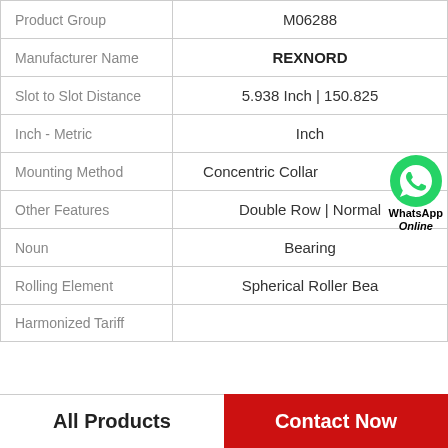| Property | Value |
| --- | --- |
| Product Group | M06288 |
| Manufacturer Name | REXNORD |
| Slot to Slot Distance | 5.938 Inch | 150.825 |
| Inch - Metric | Inch |
| Mounting Method | Concentric Collar |
| Other Features | Double Row | Normal |
| Noun | Bearing |
| Rolling Element | Spherical Roller Bea |
| Harmonized Tariff |  |
All Products    Contact Now